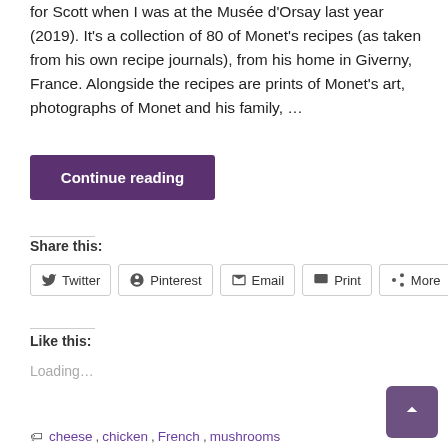for Scott when I was at the Musée d'Orsay last year (2019). It's a collection of 80 of Monet's recipes (as taken from his own recipe journals), from his home in Giverny, France. Alongside the recipes are prints of Monet's art, photographs of Monet and his family, ...
Continue reading
Share this:
Twitter
Pinterest
Email
Print
More
Like this:
Loading...
cheese, chicken, French, mushrooms